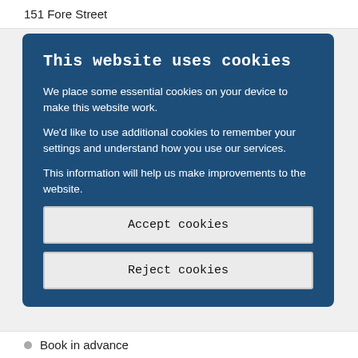151 Fore Street
This website uses cookies
We place some essential cookies on your device to make this website work.
We'd like to use additional cookies to remember your settings and understand how you use our services.
This information will help us make improvements to the website.
Accept cookies
Reject cookies
Book in advance